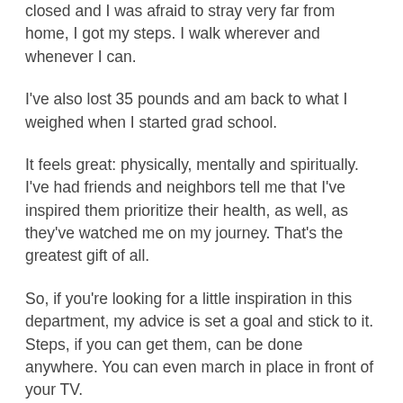closed and I was afraid to stray very far from home, I got my steps. I walk wherever and whenever I can.
I've also lost 35 pounds and am back to what I weighed when I started grad school.
It feels great: physically, mentally and spiritually. I've had friends and neighbors tell me that I've inspired them prioritize their health, as well, as they've watched me on my journey. That's the greatest gift of all.
So, if you're looking for a little inspiration in this department, my advice is set a goal and stick to it. Steps, if you can get them, can be done anywhere. You can even march in place in front of your TV.
But since we're approaching summer and all need to get out of the house a bit, long walks outside (if you can maintain social distancing requirements) can be just the thing to get your streak started.